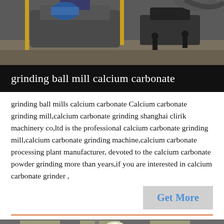[Figure (photo): Industrial ball mill machinery in a factory setting, viewed from above showing heavy equipment and workers]
grinding ball mill calcium carbonate
grinding ball mills calcium carbonate Calcium carbonate grinding mill,calcium carbonate grinding shanghai clirik machinery co,ltd is the professional calcium carbonate grinding mill,calcium carbonate grinding machine,calcium carbonate processing plant manufacturer, devoted to the calcium carbonate powder grinding more than years,if you are interested in calcium carbonate grinder ,
Get More
[Figure (photo): Industrial factory interior showing large pipes and ductwork on the ceiling of a manufacturing facility]